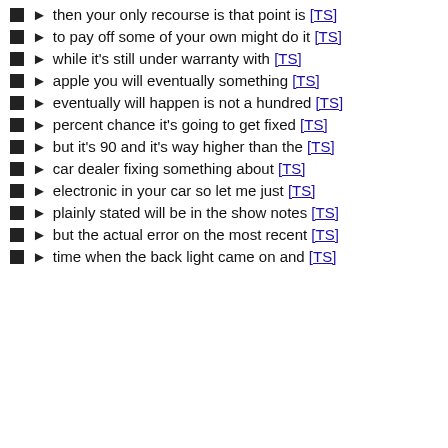then your only recourse is that point is [TS]
to pay off some of your own might do it [TS]
while it's still under warranty with [TS]
apple you will eventually something [TS]
eventually will happen is not a hundred [TS]
percent chance it's going to get fixed [TS]
but it's 90 and it's way higher than the [TS]
car dealer fixing something about [TS]
electronic in your car so let me just [TS]
plainly stated will be in the show notes [TS]
but the actual error on the most recent [TS]
time when the back light came on and [TS]